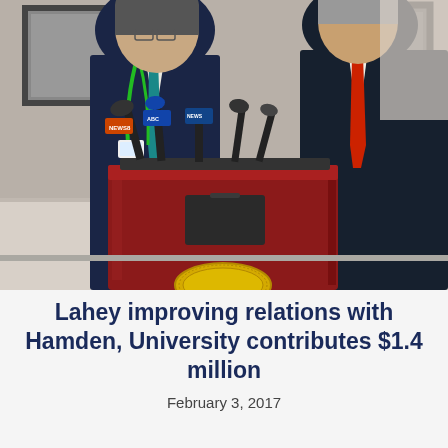[Figure (photo): Two men in dark business suits standing at a press conference podium with multiple microphones (NEWS8, ABC, and other news channel logos visible). The man on the left wears a green lanyard/badge and blue-green tie; the man on the right wears a red tie. Black-and-white portrait photographs hang on the wall behind them. A yellow seal is partially visible at the bottom of the podium.]
Lahey improving relations with Hamden, University contributes $1.4 million
February 3, 2017